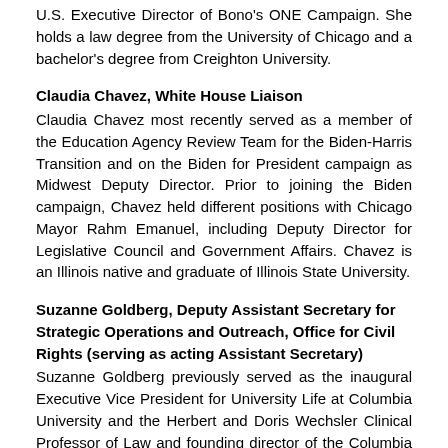U.S. Executive Director of Bono's ONE Campaign. She holds a law degree from the University of Chicago and a bachelor's degree from Creighton University.
Claudia Chavez, White House Liaison
Claudia Chavez most recently served as a member of the Education Agency Review Team for the Biden-Harris Transition and on the Biden for President campaign as Midwest Deputy Director. Prior to joining the Biden campaign, Chavez held different positions with Chicago Mayor Rahm Emanuel, including Deputy Director for Legislative Council and Government Affairs. Chavez is an Illinois native and graduate of Illinois State University.
Suzanne Goldberg, Deputy Assistant Secretary for Strategic Operations and Outreach, Office for Civil Rights (serving as acting Assistant Secretary)
Suzanne Goldberg previously served as the inaugural Executive Vice President for University Life at Columbia University and the Herbert and Doris Wechsler Clinical Professor of Law and founding director of the Columbia Law School's Sexuality & Gender Law Clinic, and co-director of the Center for Gender & Sexuality Law. Before Columbia, she was on the Rutgers-Newark Law School faculty and an adjunct faculty member at Fordham